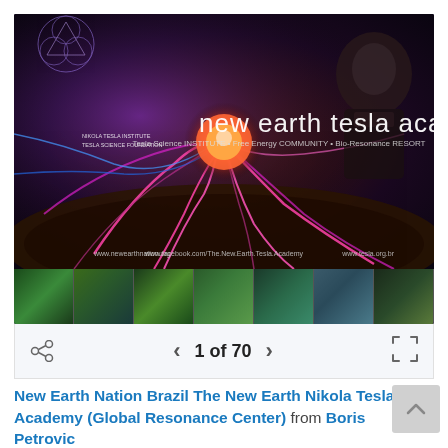[Figure (screenshot): Image viewer showing 'new earth tesla academy' promotional image with plasma energy effects and portrait of Nikola Tesla. Below is a navigation bar showing '1 of 70' with previous/next arrows and share/fullscreen icons. Thumbnail strip shows 7 nature/location photos.]
New Earth Nation Brazil The New Earth Nikola Tesla Academy (Global Resonance Center) from Boris Petrovic